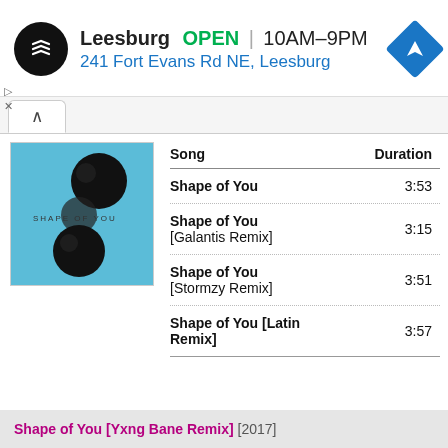[Figure (screenshot): Ad banner showing a store logo (black circle with arrows), store name Leesburg, OPEN status, hours 10AM-9PM, address 241 Fort Evans Rd NE Leesburg, and a blue navigation diamond icon]
[Figure (photo): Album art for Shape of You showing a blue background with two black circles and text 'SHAPE OF YOU']
| Song | Duration |
| --- | --- |
| Shape of You | 3:53 |
| Shape of You [Galantis Remix] | 3:15 |
| Shape of You [Stormzy Remix] | 3:51 |
| Shape of You [Latin Remix] | 3:57 |
Shape of You [Yxng Bane Remix] [2017]